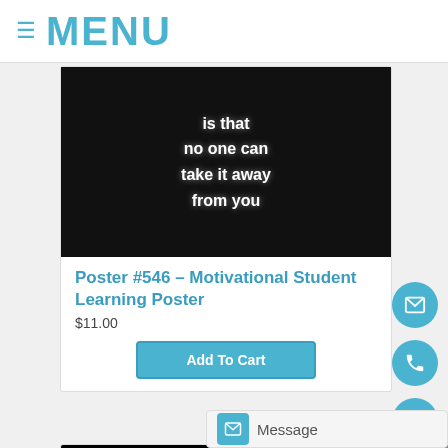≡ MENU
[Figure (photo): Black poster with white text reading 'is that no one can take it away from you']
Poster #546 – Motivational Student Learning Poster
$11.00
Add To Cart
[Figure (photo): Yellow and black warning-style poster reading FINISH SCHOOL WARNING IF YOU WORK, with a Sale! badge]
[Figure (photo): Distressed-style poster showing text including SUCCESSFUL, JOBS, BEATLES]